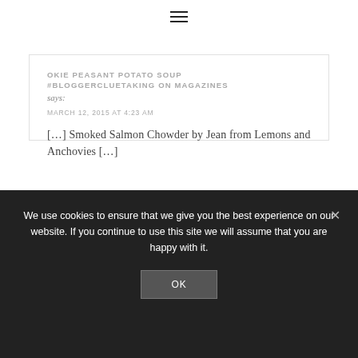≡ (hamburger menu icon)
OKIE PEASANT POTATO SOUP #BLOGGERCLUETAKING ON MAGAZINES
says:
MARCH 12, 2015 AT 4:23 AM
[…] Smoked Salmon Chowder by Jean from Lemons and Anchovies […]
We use cookies to ensure that we give you the best experience on our website. If you continue to use this site we will assume that you are happy with it.